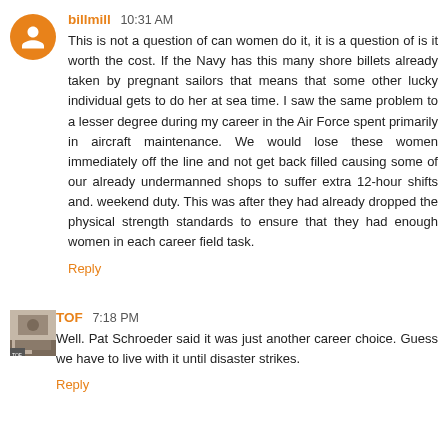billmill 10:31 AM
This is not a question of can women do it, it is a question of is it worth the cost. If the Navy has this many shore billets already taken by pregnant sailors that means that some other lucky individual gets to do her at sea time. I saw the same problem to a lesser degree during my career in the Air Force spent primarily in aircraft maintenance. We would lose these women immediately off the line and not get back filled causing some of our already undermanned shops to suffer extra 12-hour shifts and. weekend duty. This was after they had already dropped the physical strength standards to ensure that they had enough women in each career field task.
Reply
TOF 7:18 PM
Well. Pat Schroeder said it was just another career choice. Guess we have to live with it until disaster strikes.
Reply